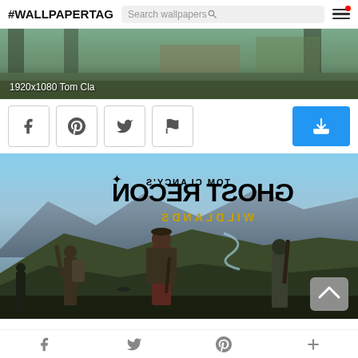#WALLPAPERTAG
[Figure (screenshot): Partial wallpaper image showing soldiers/game scene, labeled 1920x1080 Tom Cla]
[Figure (screenshot): Tom Clancy's Ghost Recon Wildlands wallpaper image with mirrored/flipped logo text and soldiers overlooking mountain landscape]
Bottom navigation bar with Facebook, Twitter, Pinterest, and plus icons